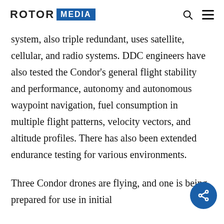ROTOR MEDIA
system, also triple redundant, uses satellite, cellular, and radio systems. DDC engineers have also tested the Condor's general flight stability and performance, autonomy and autonomous waypoint navigation, fuel consumption in multiple flight patterns, velocity vectors, and altitude profiles. There has also been extended endurance testing for various environments.
Three Condor drones are flying, and one is being prepared for use in initial